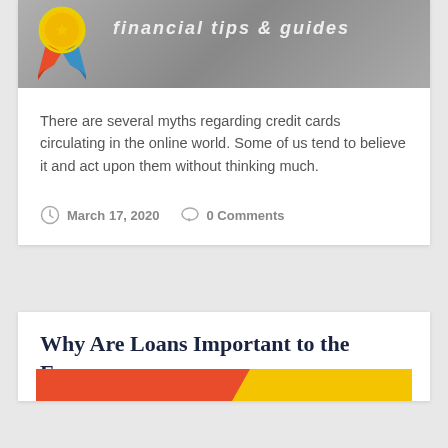[Figure (illustration): Blog post header banner with a ribbon/award badge illustration on the left side and italic bold text on a gray textured background]
There are several myths regarding credit cards circulating in the online world. Some of us tend to believe it and act upon them without thinking much.
March 17, 2020   0 Comments
Why Are Loans Important to the Economy
[Figure (illustration): Bottom banner split into red/orange left section and yellow right section, partially visible at bottom of page]